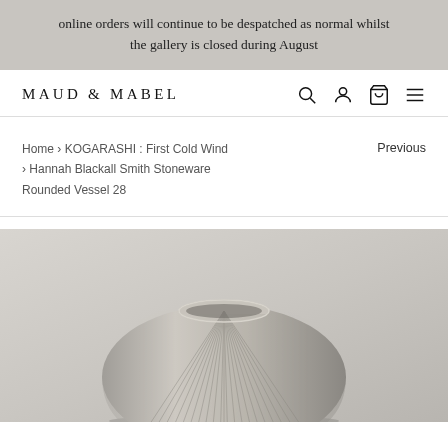online orders will continue to be despatched as normal whilst the gallery is closed during August
[Figure (logo): Maud & Mabel navigation bar with logo text MAUD & MABEL on left, and search, account, cart, menu icons on right]
Home › KOGARASHI : First Cold Wind › Hannah Blackall Smith Stoneware Rounded Vessel 28
Previous
[Figure (photo): Photo of a stoneware rounded vessel by Hannah Blackall Smith — a wide, squat ceramic pot with ribbed/carved linear texture covering the surface, in muted beige/grey tones, photographed against a soft grey background]